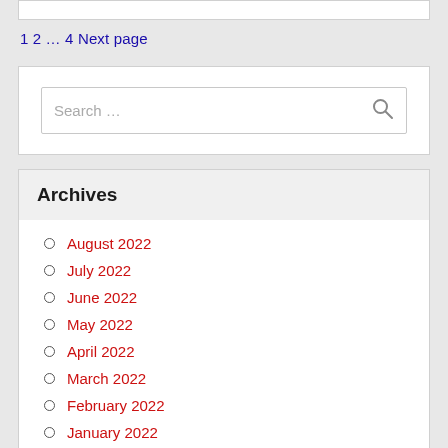1 2 … 4 Next page
[Figure (screenshot): Search box with magnifying glass icon]
Archives
August 2022
July 2022
June 2022
May 2022
April 2022
March 2022
February 2022
January 2022